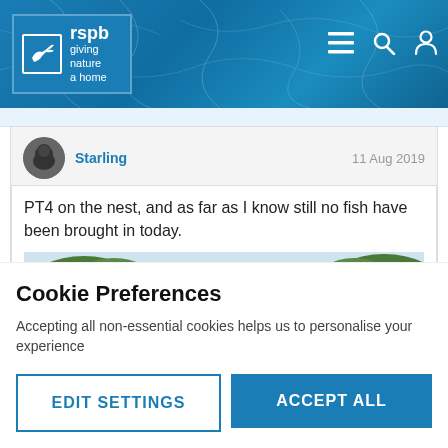[Figure (screenshot): RSPB website header with logo showing a bird and text 'giving nature a home' and 'rspb', with navigation icons (hamburger menu, search, user) on a blue cracked-texture background]
[Figure (screenshot): Forum post by user 'Starling' dated '11 Aug 2019' with text 'PT4 on the nest, and as far as I know still no fish have been brought in today.' and a nature/landscape photo showing trees and water]
Cookie Preferences
Accepting all non-essential cookies helps us to personalise your experience
EDIT SETTINGS
ACCEPT ALL